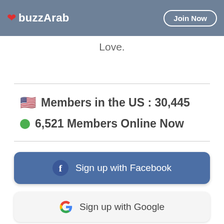buzzArab — Join Now
Love.
🇺🇸 Members in the US : 30,445
🟢 6,521 Members Online Now
Sign up with Facebook
Sign up with Google